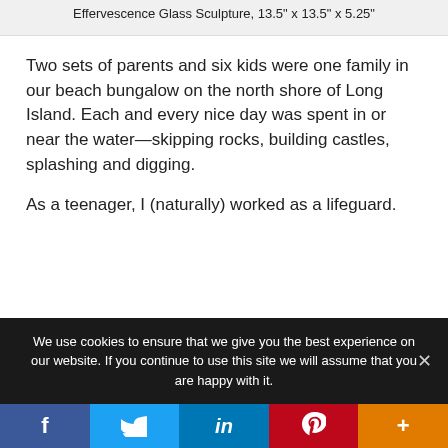Effervescence  Glass Sculpture, 13.5" x 13.5" x 5.25"
Two sets of parents and six kids were one family in our beach bungalow on the north shore of Long Island. Each and every nice day was spent in or near the water—skipping rocks, building castles, splashing and digging.
As a teenager, I (naturally) worked as a lifeguard.
We use cookies to ensure that we give you the best experience on our website. If you continue to use this site we will assume that you are happy with it.
[Figure (other): Social media share buttons: Facebook, Twitter, LinkedIn, Pinterest, More]